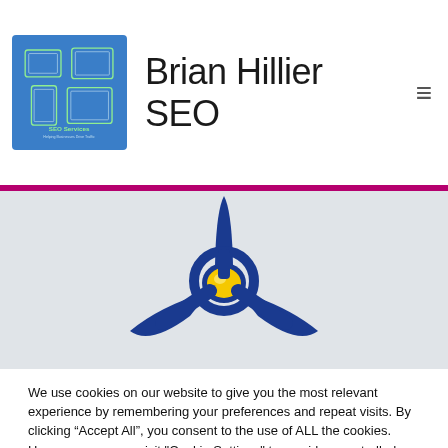[Figure (logo): SEO Services logo box with blue background and device illustrations]
Brian Hillier SEO
[Figure (illustration): Blue 3-blade propeller with yellow center hub on light background]
We use cookies on our website to give you the most relevant experience by remembering your preferences and repeat visits. By clicking “Accept All”, you consent to the use of ALL the cookies. However, you may visit "Cookie Settings" to provide a controlled consent.
Cookie Settings | Accept All